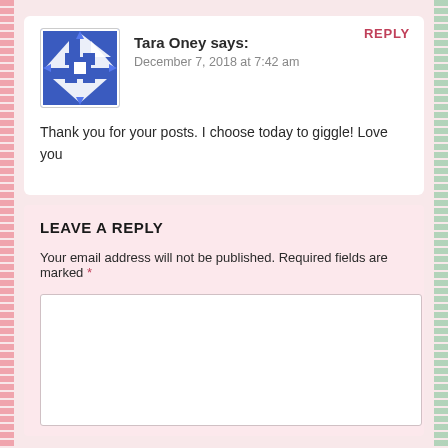REPLY
Tara Oney says:
December 7, 2018 at 7:42 am
Thank you for your posts. I choose today to giggle! Love you
LEAVE A REPLY
Your email address will not be published. Required fields are marked *